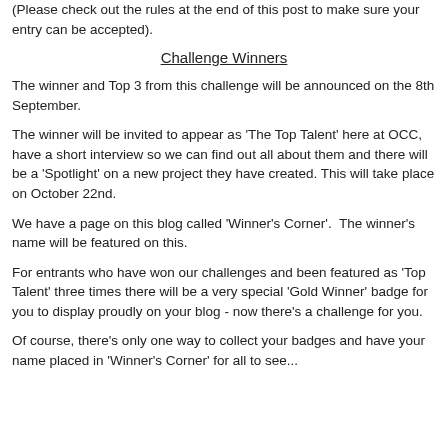(Please check out the rules at the end of this post to make sure your entry can be accepted).
Challenge Winners
The winner and Top 3 from this challenge will be announced on the 8th September.
The winner will be invited to appear as 'The Top Talent' here at OCC, have a short interview so we can find out all about them and there will be a 'Spotlight' on a new project they have created. This will take place on October 22nd.
We have a page on this blog called 'Winner's Corner'.  The winner's name will be featured on this.
For entrants who have won our challenges and been featured as 'Top Talent' three times there will be a very special 'Gold Winner' badge for you to display proudly on your blog - now there's a challenge for you.
Of course, there's only one way to collect your badges and have your name placed in 'Winner's Corner' for all to see...